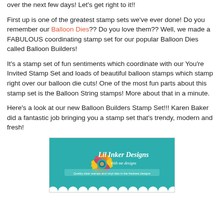over the next few days! Let's get right to it!!
First up is one of the greatest stamp sets we've ever done! Do you remember our Balloon Dies?? Do you love them?? Well, we made a FABULOUS coordinating stamp set for our popular Balloon Dies called Balloon Builders!
It's a stamp set of fun sentiments which coordinate with our You're Invited Stamp Set and loads of beautiful balloon stamps which stamp right over our balloon die cuts! One of the most fun parts about this stamp set is the Balloon String stamps! More about that in a minute.
Here's a look at our new Balloon Builders Stamp Set!!! Karen Baker did a fantastic job bringing you a stamp set that's trendy, modern and fresh!
[Figure (logo): Lil Inker Designs logo on teal background with colorful flower, script text reading 'Lil Inker Designs with me designs', tagline 'Quality clear stamps and vinyl dies in the freshest designs', and scalloped white border at bottom]